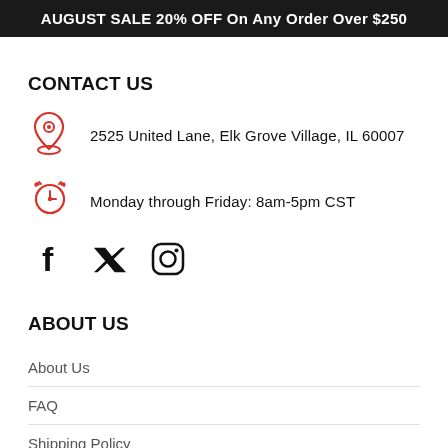AUGUST SALE 20% OFF On Any Order Over $250
CONTACT US
2525 United Lane, Elk Grove Village, IL 60007
Monday through Friday: 8am-5pm CST
[Figure (infographic): Social media icons: Facebook, Twitter, Instagram]
ABOUT US
About Us
FAQ
Shipping Policy
Returns And Cancelations